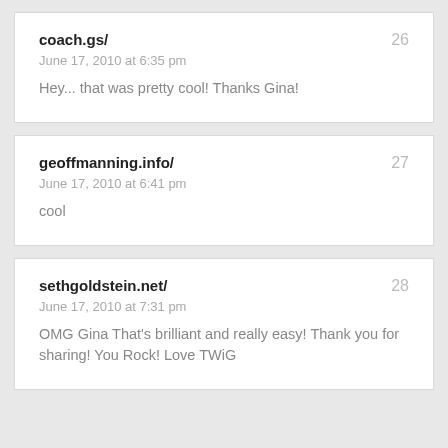coach.gs/ | 26 | June 17, 2010 at 6:35 pm | Hey... that was pretty cool! Thanks Gina!
geoffmanning.info/ | 27 | June 17, 2010 at 6:41 pm | cool
sethgoldstein.net/ | 28 | June 17, 2010 at 7:31 pm | OMG Gina That's brilliant and really easy! Thank you for sharing! You Rock! Love TWiG